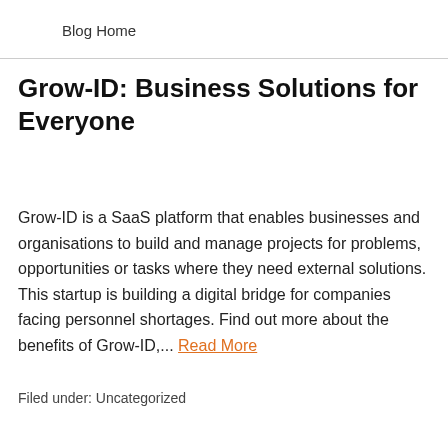Blog Home
Grow-ID: Business Solutions for Everyone
Grow-ID is a SaaS platform that enables businesses and organisations to build and manage projects for problems, opportunities or tasks where they need external solutions. This startup is building a digital bridge for companies facing personnel shortages. Find out more about the benefits of Grow-ID,... Read More
Filed under: Uncategorized